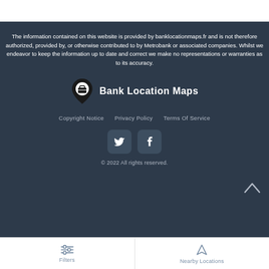The information contained on this website is provided by banklocationmaps.fr and is not therefore authorized, provided by, or otherwise contributed to by Metrobank or associated companies. Whilst we endeavor to keep the information up to date and correct we make no representations or warranties as to its accuracy.
[Figure (logo): Bank Location Maps logo: map pin icon with briefcase symbol and bold white text 'Bank Location Maps']
Copyright Notice   Privacy Policy   Terms Of Service
[Figure (infographic): Social media icons: Twitter and Facebook rounded square buttons]
© 2022 All rights reserved.
[Figure (infographic): Bottom navigation bar with Filters (sliders icon) and Nearby Locations (navigation arrow icon)]